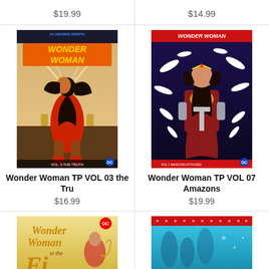$19.99
$14.99
[Figure (illustration): Wonder Woman TP VOL 03 the Tru comic book cover - DC Universe Rebirth, Wonder Woman Vol. 3 The Truth, featuring Wonder Woman kneeling in action pose]
Wonder Woman TP VOL 03 the Tru
$16.99
[Figure (illustration): Wonder Woman TP VOL 07 Amazons Attacked comic book cover - Wonder Woman holding a sword with white birds/feathers around her]
Wonder Woman TP VOL 07 Amazons
$19.99
[Figure (illustration): Wonder Woman in the Fifties - retro style comic book cover with yellow background]
[Figure (illustration): Another Wonder Woman comic book cover partially visible - red and teal colors]